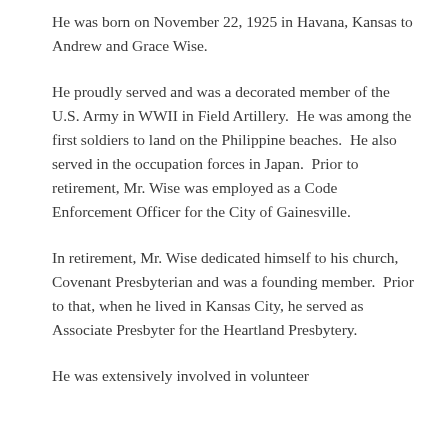He was born on November 22, 1925 in Havana, Kansas to Andrew and Grace Wise.
He proudly served and was a decorated member of the U.S. Army in WWII in Field Artillery.  He was among the first soldiers to land on the Philippine beaches.  He also served in the occupation forces in Japan.  Prior to retirement, Mr. Wise was employed as a Code Enforcement Officer for the City of Gainesville.
In retirement, Mr. Wise dedicated himself to his church, Covenant Presbyterian and was a founding member.  Prior to that, when he lived in Kansas City, he served as Associate Presbyter for the Heartland Presbytery.
He was extensively involved in volunteer